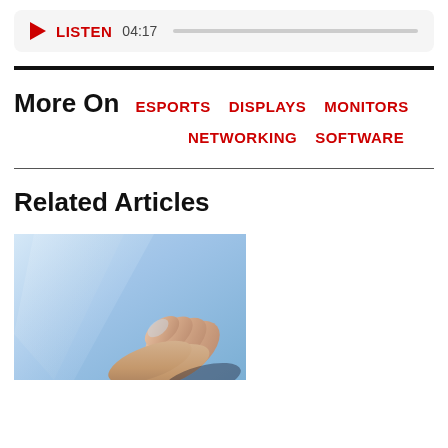[Figure (other): Audio player bar with red play triangle, LISTEN label, time 04:17, and progress bar]
More On  ESPORTS  DISPLAYS  MONITORS  NETWORKING  SOFTWARE
Related Articles
[Figure (photo): Close-up photo of a finger touching a screen or surface with blue and white tones]